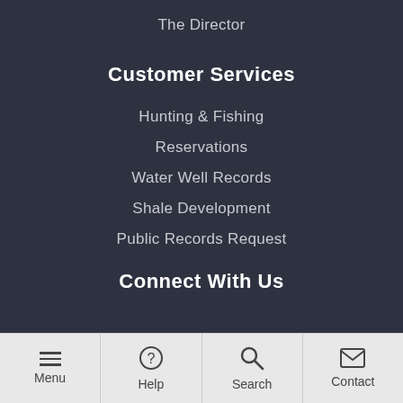The Director
Customer Services
Hunting & Fishing
Reservations
Water Well Records
Shale Development
Public Records Request
Connect With Us
Menu | Help | Search | Contact